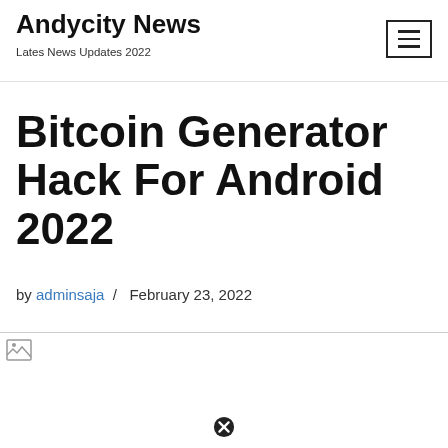Andycity News
Lates News Updates 2022
Bitcoin Generator Hack For Android 2022
by adminsaja / February 23, 2022
[Figure (photo): Broken/unloaded image placeholder for article image]